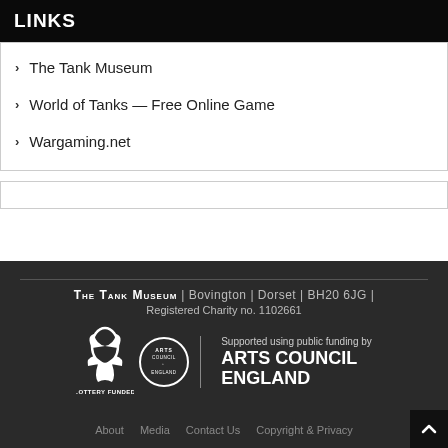LINKS
The Tank Museum
World of Tanks — Free Online Game
Wargaming.net
THE TANK MUSEUM | Bovington | Dorset | BH20 6JG | Registered Charity no. 1102661
[Figure (logo): Arts Council England Lottery Funded logo with hand symbol and circular Arts Council England badge, and Arts Council England text]
About   Media   Contact Us   Copyright & Privacy